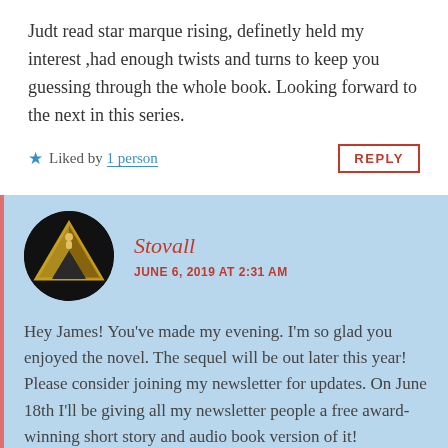Judt read star marque rising, definetly held my interest ,had enough twists and turns to keep you guessing through the whole book. Looking forward to the next in this series.
Liked by 1 person
REPLY
Stovall
JUNE 6, 2019 AT 2:31 AM
Hey James! You've made my evening. I'm so glad you enjoyed the novel. The sequel will be out later this year! Please consider joining my newsletter for updates. On June 18th I'll be giving all my newsletter people a free award-winning short story and audio book version of it!